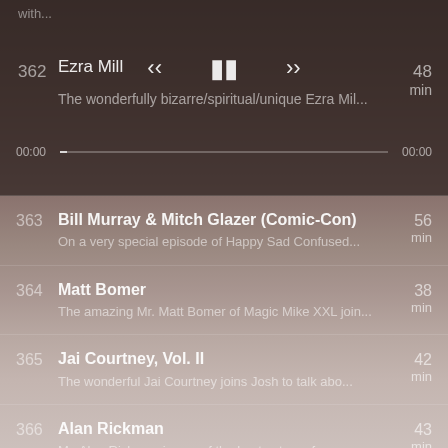with...
362 | Ezra Mill... | The wonderfully bizarre/spiritual/unique Ezra Mil... | 48 min
363 | Bill Murray & Mitch Glazer (Comic-Con) | On a very special episode of Happy Sad Confused... | 56 min
364 | Matt Bomer | The amazing Mr. Matt Bomer of Magic Mike XXL join... | 38 min
365 | Jai Courtney, Vol. II | The wonderful Jai Courtney joins Josh to talk abo... | 42 min
366 | Alan Rickman | Mr. Alan Rickman is one of the best actors of our... | 43 min
367 | Paul Dano | A fine young and remarkable actor by the name of ... | 52 min